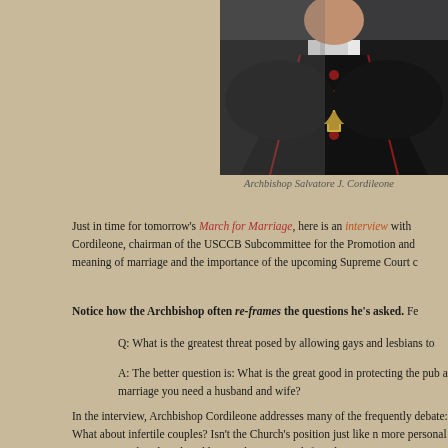[Figure (photo): Photograph of Archbishop Salvatore J. Cordileone in black clerical robes with red trim and a large cross necklace/chain]
Archbishop Salvatore J. Cordileone
Just in time for tomorrow's March for Marriage, here is an interview with Cordileone, chairman of the USCCB Subcommittee for the Promotion and meaning of marriage and the importance of the upcoming Supreme Court c
Notice how the Archbishop often re-frames the questions he's asked. Fe
Q: What is the greatest threat posed by allowing gays and lesbians to
A: The better question is: What is the great good in protecting the pub a marriage you need a husband and wife?
In the interview, Archbishop Cordileone addresses many of the frequently debate: What about infertile couples? Isn't the Church's position just like n more personal questions, such as how he addresses this issue with friends a